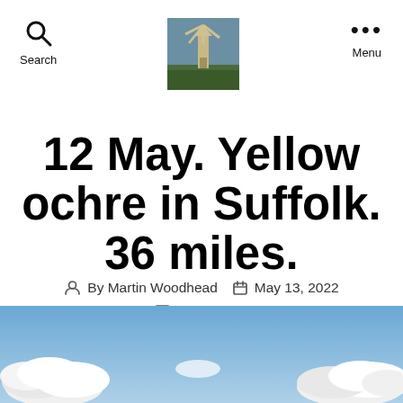Search | [windmill logo] | Menu
12 May. Yellow ochre in Suffolk. 36 miles.
By Martin Woodhead   May 13, 2022   1 Comment
[Figure (photo): Blue sky with white clouds, landscape photo at bottom of page]